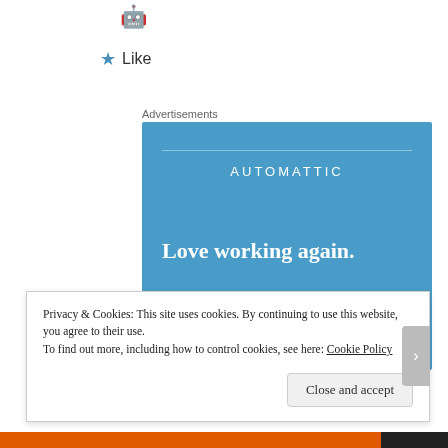[Figure (illustration): Small emoji icon (robot/alien face) at top center]
★ Like
Advertisements
[Figure (infographic): Automattic advertisement banner with blue background, company logo 'AUTOMATTIC', tagline 'Love working again.' and an Apply button]
Privacy & Cookies: This site uses cookies. By continuing to use this website, you agree to their use.
To find out more, including how to control cookies, see here: Cookie Policy
Close and accept